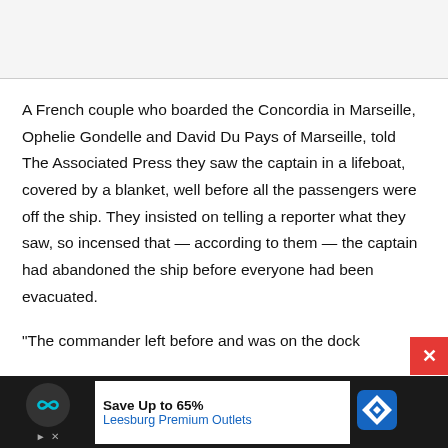A French couple who boarded the Concordia in Marseille, Ophelie Gondelle and David Du Pays of Marseille, told The Associated Press they saw the captain in a lifeboat, covered by a blanket, well before all the passengers were off the ship. They insisted on telling a reporter what they saw, so incensed that — according to them — the captain had abandoned the ship before everyone had been evacuated.
"The commander left before and was on the dock
[Figure (infographic): Advertisement banner at the bottom: black background with a circular logo, play/close buttons, promoting 'Save Up to 65% Leesburg Premium Outlets' with a red navigation diamond icon. A red close button (x) appears at the top right of the ad.]